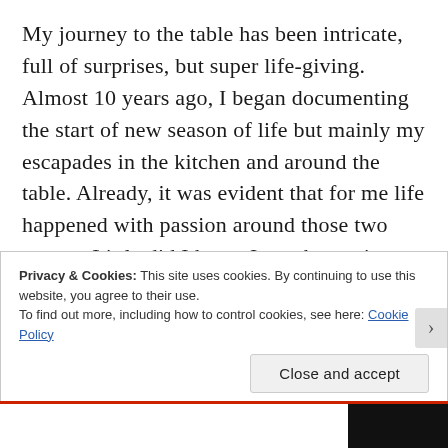My journey to the table has been intricate, full of surprises, but super life-giving. Almost 10 years ago, I began documenting the start of new season of life but mainly my escapades in the kitchen and around the table. Already, it was evident that for me life happened with passion around those two spaces. Little did I know I was becoming a woman of the table. I was sending out a homing signal to the other people of the table and they got the message! Today, I am so glad you recognized that signal and it lead to
Privacy & Cookies: This site uses cookies. By continuing to use this website, you agree to their use.
To find out more, including how to control cookies, see here: Cookie Policy
Close and accept